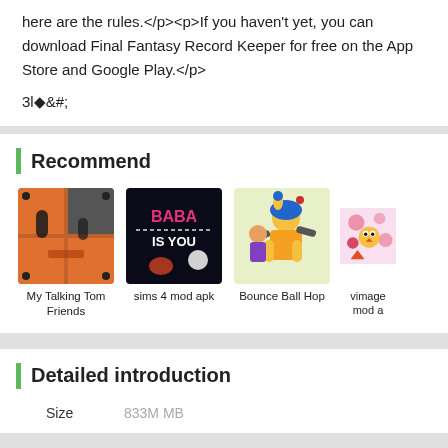here are the rules.</p><p>If you haven't yet, you can download Final Fantasy Record Keeper for free on the App Store and Google Play.</p>
3ڒ&#;
Recommend
[Figure (other): App icon for My Talking Tom Friends]
My Talking Tom Friends
[Figure (other): App icon for sims 4 mod apk]
sims 4 mod apk
[Figure (other): App icon for Bounce Ball Hop]
Bounce Ball Hop
[Figure (other): App icon for vimage mod apk (partially visible)]
vimage mod a
Detailed introduction
Size   833M MB